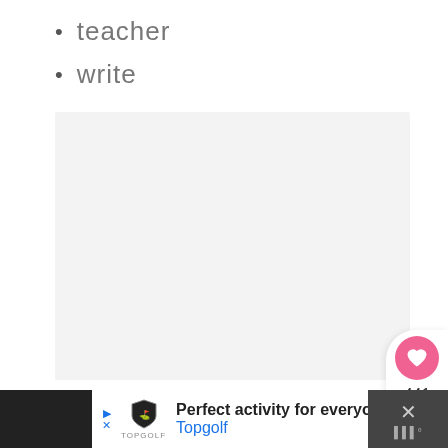teacher
write
[Figure (other): Empty light gray content box, likely placeholder for an image or interactive content]
441
Perfect activity for everyone  Topgolf